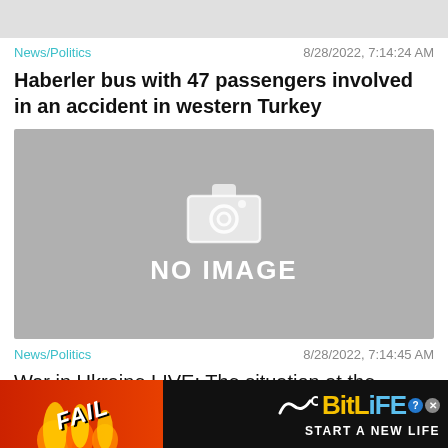[Figure (other): Gray placeholder image at top of page]
News/Politics    8/28/2022, 7:14:24 AM
Haberler bus with 47 passengers involved in an accident in western Turkey
[Figure (other): No image placeholder with camera icon and text NO IMAGE]
News/Politics    8/28/2022, 7:14:45 AM
War in Ukraine LIVE: The situation at the Zaporozhye nuclear power plant cont
[Figure (other): BitLife advertisement banner: FAIL, BitLife logo, START A NEW LIFE]